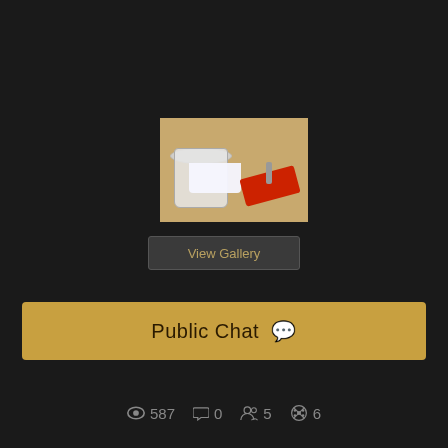[Figure (photo): A plastic cup with white contents and a red lid/cap next to it on a tan/beige surface]
View Gallery
Public Chat
587  0  5  6